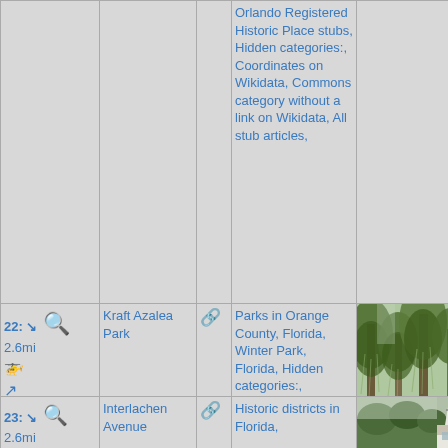| Nav | Name | Link | Categories | Image |
| --- | --- | --- | --- | --- |
|  |  |  | Orlando Registered Historic Place stubs, Hidden categories:, Coordinates on Wikidata, Commons category without a link on Wikidata, All stub articles, |  |
| 22: 2.6mi [icons] | Kraft Azalea Park | [link icon] | Parks in Orange County, Florida, Winter Park, Florida, Hidden categories:, Coordinates on Wikidata, | [photo of park with trees] |
| 23: 2.6mi [icons] | Interlachen Avenue | [link icon] | Historic districts in Florida, | [photo of church] |